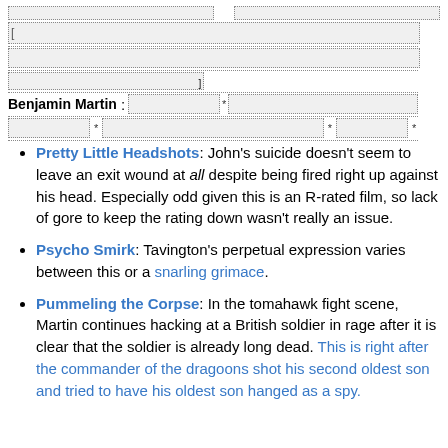Pretty Little Headshots: John's suicide doesn't seem to leave an exit wound at all despite being fired right up against his head. Especially odd given this is an R-rated film, so lack of gore to keep the rating down wasn't really an issue.
Psycho Smirk: Tavington's perpetual expression varies between this or a snarling grimace.
Pummeling the Corpse: In the tomahawk fight scene, Martin continues hacking at a British soldier in rage after it is clear that the soldier is already long dead. This is right after the commander of the dragoons shot his second oldest son and tried to have his oldest son hanged as a spy.